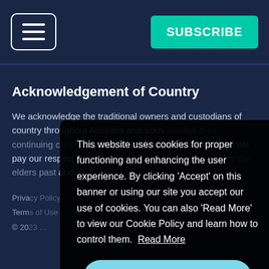SUBSCRIBE
Acknowledgement of Country
We acknowledge the traditional owners and custodians of country throughout Australia and acknowledge their continuing connections to land, water and communities. We pay our respect to their people and their cultures, and to the elders past and present.
Privacy
Terms
© 202…
This website uses cookies for proper functioning and enhancing the user experience. By clicking 'Accept' on this banner or using our site you accept our use of cookies. You can also 'Read More' to view our Cookie Policy and learn how to control them. Read More
Accept